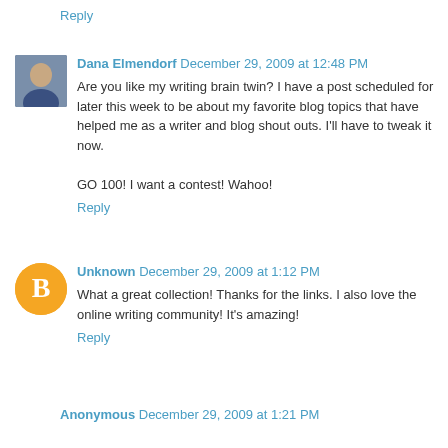Reply
Dana Elmendorf December 29, 2009 at 12:48 PM
Are you like my writing brain twin? I have a post scheduled for later this week to be about my favorite blog topics that have helped me as a writer and blog shout outs. I'll have to tweak it now.

GO 100! I want a contest! Wahoo!
Reply
Unknown December 29, 2009 at 1:12 PM
What a great collection! Thanks for the links. I also love the online writing community! It's amazing!
Reply
Anonymous December 29, 2009 at 1:21 PM